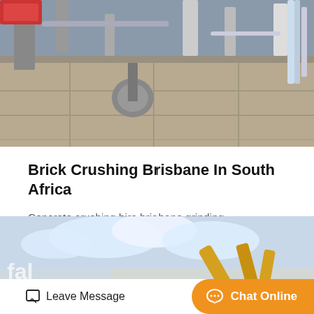[Figure (photo): Industrial machinery/crusher equipment with concrete walls and metal piping, photographed from below against a grey sky.]
Brick Crushing Brisbane In South Africa
Concrete crushing hire brisbane grinding mill,miningrick crushing brisbane rock crusher hire brisbane, crusher for rent in malaysia crusher south africa scoriaused concrete crushing amp.
[Figure (photo): Construction excavator arm against a blue cloudy sky, partial view.]